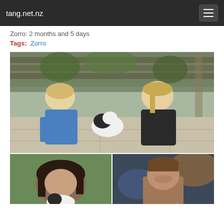tang.net.nz
Zorro: 2 months and 5 days
Tags: Zorro
[Figure (photo): Two young blonde girls sitting on patio stones outside, petting a small black and white puppy between them. One girl wears a blue hoodie, the other a black top. Garden with wooden fence and plants in background.]
[Figure (photo): Dark-haired woman looking down at a small puppy, photographed outdoors with green foliage background.]
[Figure (photo): Middle-aged man with short brown hair photographed indoors, warm lighting in background.]